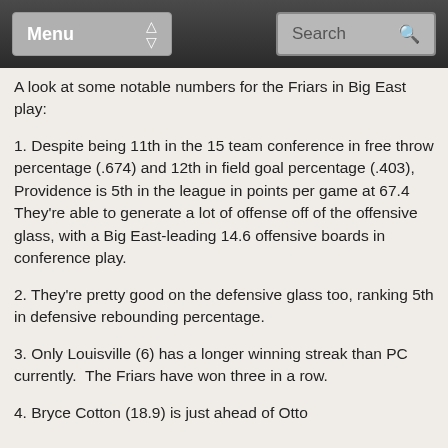Menu | Search
A look at some notable numbers for the Friars in Big East play:
1. Despite being 11th in the 15 team conference in free throw percentage (.674) and 12th in field goal percentage (.403), Providence is 5th in the league in points per game at 67.4  They’re able to generate a lot of offense off of the offensive glass, with a Big East-leading 14.6 offensive boards in conference play.
2. They’re pretty good on the defensive glass too, ranking 5th in defensive rebounding percentage.
3. Only Louisville (6) has a longer winning streak than PC currently.  The Friars have won three in a row.
4. Bryce Cotton (18.9) is just ahead of Otto